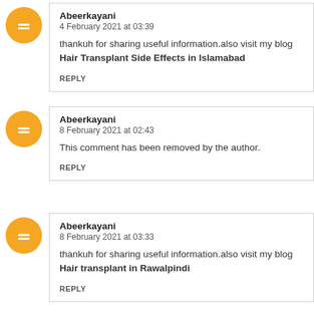Abeerkayani
4 February 2021 at 03:39

thankuh for sharing useful information.also visit my blog Hair Transplant Side Effects in Islamabad

REPLY
Abeerkayani
8 February 2021 at 02:43

This comment has been removed by the author.

REPLY
Abeerkayani
8 February 2021 at 03:33

thankuh for sharing useful information.also visit my blog Hair transplant in Rawalpindi

REPLY